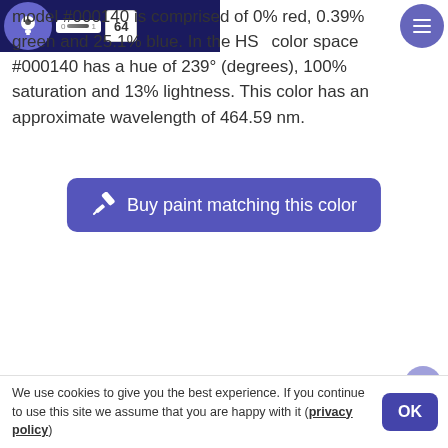[Figure (screenshot): Color swatch area showing dark navy/blue color block with a lightbulb icon in a purple circle, a slider control, and number '64' box]
model #000140 is comprised of 0% red, 0.39% green and 25.1% blue. In the HSL color space #000140 has a hue of 239° (degrees), 100% saturation and 13% lightness. This color has an approximate wavelength of 464.59 nm.
[Figure (other): Purple rounded button with paint brush icon and text 'Buy paint matching this color']
We use cookies to give you the best experience. If you continue to use this site we assume that you are happy with it (privacy policy)